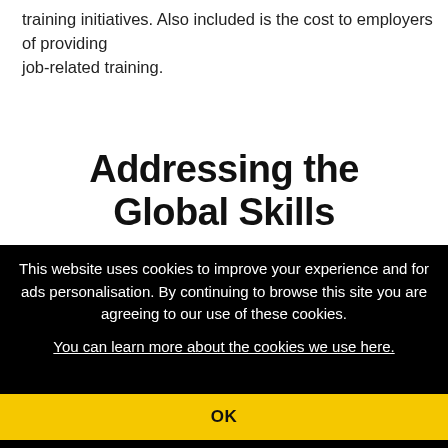training initiatives. Also included is the cost to employers of providing job-related training.
Addressing the Global Skills
This website uses cookies to improve your experience and for ads personalisation. By continuing to browse this site you are agreeing to our use of these cookies. You can learn more about the cookies we use here.
OK